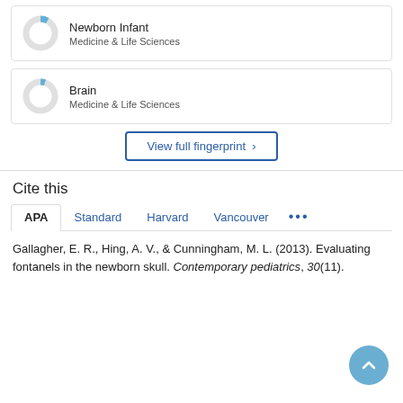[Figure (donut-chart): Small donut chart for Newborn Infant, Medicine & Life Sciences]
Newborn Infant
Medicine & Life Sciences
[Figure (donut-chart): Small donut chart for Brain, Medicine & Life Sciences]
Brain
Medicine & Life Sciences
View full fingerprint ›
Cite this
APA   Standard   Harvard   Vancouver   •••
Gallagher, E. R., Hing, A. V., & Cunningham, M. L. (2013). Evaluating fontanels in the newborn skull. Contemporary pediatrics, 30(11).